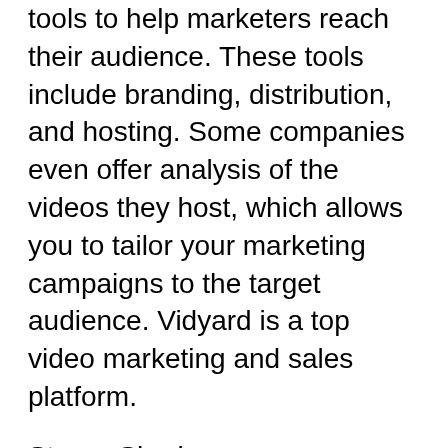tools to help marketers reach their audience. These tools include branding, distribution, and hosting. Some companies even offer analysis of the videos they host, which allows you to tailor your marketing campaigns to the target audience. Vidyard is a top video marketing and sales platform.
StreamShark
If you're looking for an excellent video sharing platform You might want to try StreamShark Vimeo alternative storyxpress. Vimeo's free version has limited features and limitations on how many videos you can upload each week. It's a budget-friendly service and people are hoping to get value for their budget. StreamShark provides these and many other features that you won't find